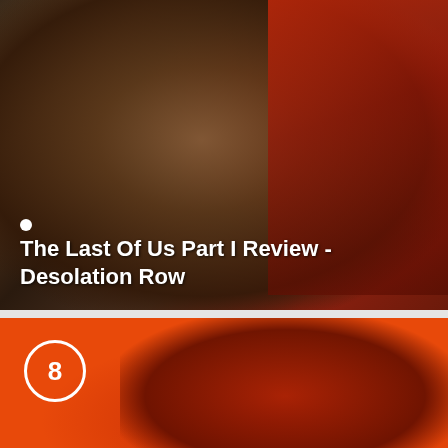[Figure (screenshot): A dark, moody screenshot from The Last Of Us Part I showing a bearded man with injuries on his face on the left, and a red-lit figure on the right. Title text overlay reads 'The Last Of Us Part I Review - Desolation Row'.]
The Last Of Us Part I Review - Desolation Row
[Figure (screenshot): A red-orange tinted screenshot showing a figure with curly/wavy hair lit from below in red, against an orange background. A white circle with the number 8 appears in the upper left (score indicator).]